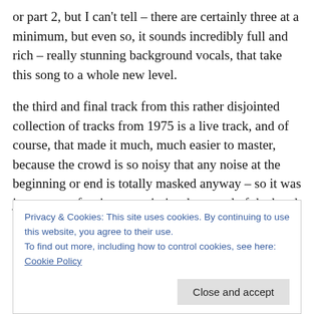or part 2, but I can't tell – there are certainly three at a minimum, but even so, it sounds incredibly full and rich – really stunning background vocals, that take this song to a whole new level.
the third and final track from this rather disjointed collection of tracks from 1975 is a live track, and of course, that made it much, much easier to master, because the crowd is so noisy that any noise at the beginning or end is totally masked anyway – so it was just a case of trying to optimise the sound of the band and the vocals.
Privacy & Cookies: This site uses cookies. By continuing to use this website, you agree to their use. To find out more, including how to control cookies, see here: Cookie Policy
drummer whose name I do not recall, and strangely, the